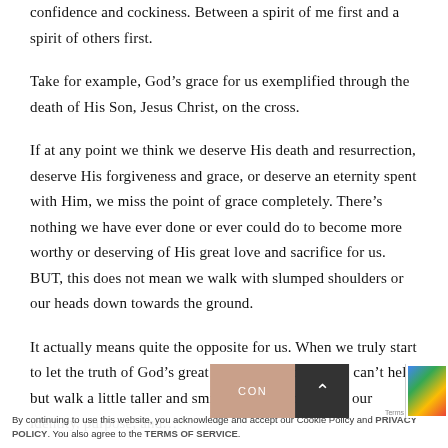confidence and cockiness. Between a spirit of me first and a spirit of others first.
Take for example, God’s grace for us exemplified through the death of His Son, Jesus Christ, on the cross.
If at any point we think we deserve His death and resurrection, deserve His forgiveness and grace, or deserve an eternity spent with Him, we miss the point of grace completely. There’s nothing we have ever done or ever could do to become more worthy or deserving of His great love and sacrifice for us. BUT, this does not mean we walk with slumped shoulders or our heads down towards the ground.
It actually means quite the opposite for us. When we truly start to let the truth of God’s great love for us sink in, we can’t help but walk a little taller and smile a little… know that our identity, purpose, and…